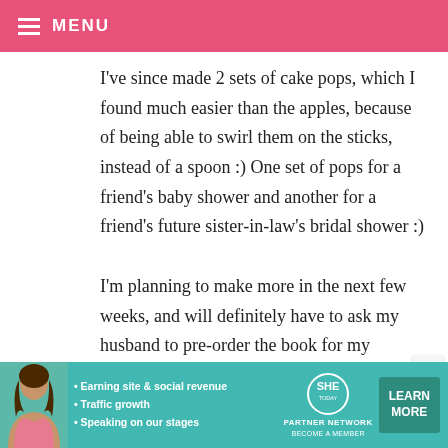MENU
I've since made 2 sets of cake pops, which I found much easier than the apples, because of being able to swirl them on the sticks, instead of a spoon :) One set of pops for a friend's baby shower and another for a friend's future sister-in-law's bridal shower :)

I'm planning to make more in the next few weeks, and will definitely have to ask my husband to pre-order the book for my birthday, which is also in September :)
[Figure (infographic): Advertisement banner for SHE Partner Network with photo of a woman, bullet points about earning site & social revenue, traffic growth, speaking on stages, and a Learn More button]